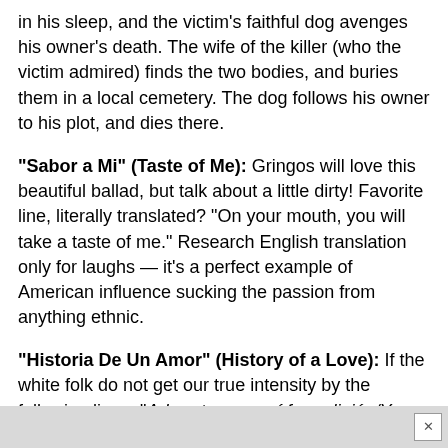in his sleep, and the victim's faithful dog avenges his owner's death. The wife of the killer (who the victim admired) finds the two bodies, and buries them in a local cemetery. The dog follows his owner to his plot, and dies there.
"Sabor a Mi" (Taste of Me): Gringos will love this beautiful ballad, but talk about a little dirty! Favorite line, literally translated? "On your mouth, you will take a taste of me." Research English translation only for laughs — it's a perfect example of American influence sucking the passion from anything ethnic.
"Historia De Un Amor" (History of a Love): If the white folk do not get our true intensity by the following lines, "Adorarte para mí fue religión/Y en tus besos yo encontraba/El calor que me brindaba" (Adoring you was